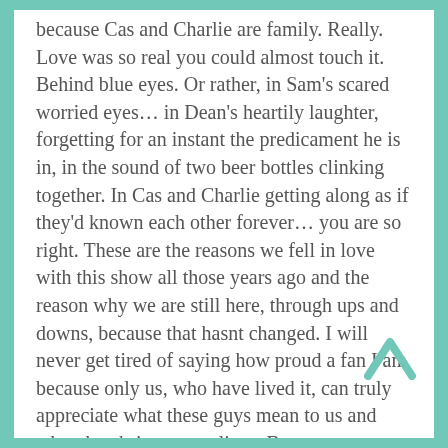because Cas and Charlie are family. Really. Love was so real you could almost touch it. Behind blue eyes. Or rather, in Sam's scared worried eyes… in Dean's heartily laughter, forgetting for an instant the predicament he is in, in the sound of two beer bottles clinking together. In Cas and Charlie getting along as if they'd known each other forever… you are so right. These are the reasons we fell in love with this show all those years ago and the reason why we are still here, through ups and downs, because that hasnt changed. I will never get tired of saying how proud a fan I am because only us, who have lived it, can truly appreciate what these guys mean to us and what they bring to our lives. But